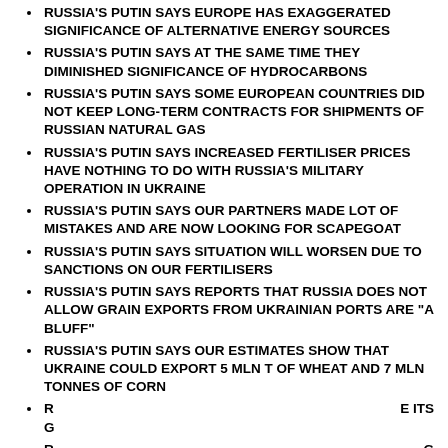RUSSIA'S PUTIN SAYS EUROPE HAS EXAGGERATED SIGNIFICANCE OF ALTERNATIVE ENERGY SOURCES
RUSSIA'S PUTIN SAYS AT THE SAME TIME THEY DIMINISHED SIGNIFICANCE OF HYDROCARBONS
RUSSIA'S PUTIN SAYS SOME EUROPEAN COUNTRIES DID NOT KEEP LONG-TERM CONTRACTS FOR SHIPMENTS OF RUSSIAN NATURAL GAS
RUSSIA'S PUTIN SAYS INCREASED FERTILISER PRICES HAVE NOTHING TO DO WITH RUSSIA'S MILITARY OPERATION IN UKRAINE
RUSSIA'S PUTIN SAYS OUR PARTNERS MADE LOT OF MISTAKES AND ARE NOW LOOKING FOR SCAPEGOAT
RUSSIA'S PUTIN SAYS SITUATION WILL WORSEN DUE TO SANCTIONS ON OUR FERTILISERS
RUSSIA'S PUTIN SAYS REPORTS THAT RUSSIA DOES NOT ALLOW GRAIN EXPORTS FROM UKRAINIAN PORTS ARE "A BLUFF"
RUSSIA'S PUTIN SAYS OUR ESTIMATES SHOW THAT UKRAINE COULD EXPORT 5 MLN T OF WHEAT AND 7 MLN TONNES OF CORN
R                                                              E ITS G
R                                                              G